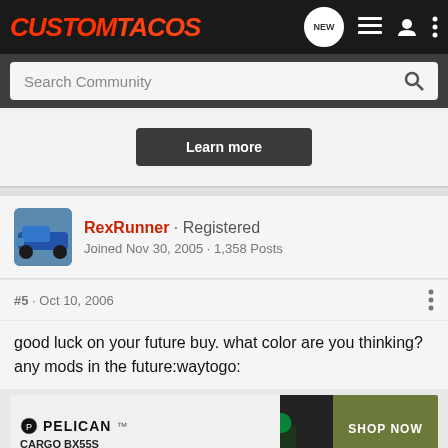CustomTacos
Search Community
[Figure (screenshot): Learn more button on white/light grey ad banner]
RexRunner · Registered
Joined Nov 30, 2005 · 1,358 Posts
#5 · Oct 10, 2006
good luck on your future buy. what color are you thinking? any mods in the future:waytogo:
[Figure (photo): Pelican Cargo BX55S advertisement banner with SHOP NOW button]